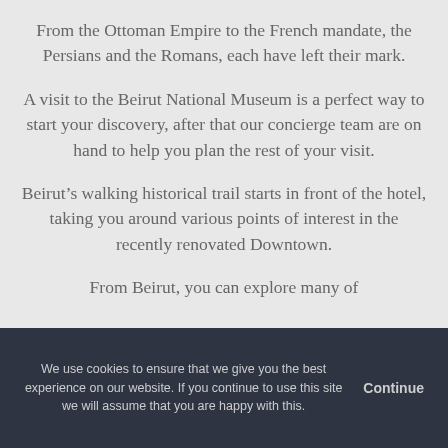From the Ottoman Empire to the French mandate, the Persians and the Romans, each have left their mark.
A visit to the Beirut National Museum is a perfect way to start your discovery, after that our concierge team are on hand to help you plan the rest of your visit.
Beirut’s walking historical trail starts in front of the hotel, taking you around various points of interest in the recently renovated Downtown.
From Beirut, you can explore many of
We use cookies to ensure that we give you the best experience on our website. If you continue to use this site we will assume that you are happy with this.  Continue